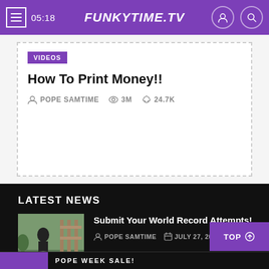FUNKYTIME.TV — 05:18
VIDEOS
How To Print Money!!
POPE SAMTIME  3M  24.7K
LATEST NEWS
[Figure (photo): Thumbnail showing a person with a hula hoop outdoors, with overlay text reading SUBMIT YOUR RD RECORD VI]
Submit Your World Record Attempts!
POPE SAMTIME   JULY 27, 2020
TOP
POPE WEEK SALE!